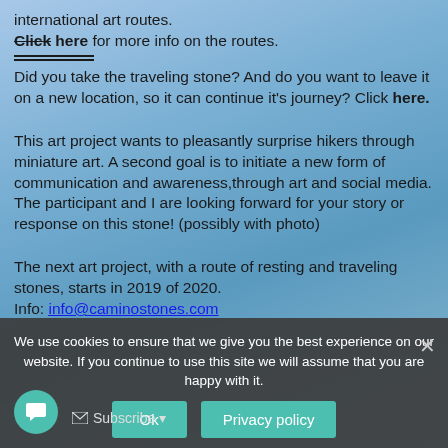international art routes. Click here for more info on the routes. Did you take the traveling stone? And do you want to leave it on a new location, so it can continue it's journey? Click here.
This art project wants to pleasantly surprise hikers through miniature art. A second goal is to initiate a new form of communication and awareness,through art and social media. The participant and I are looking forward for your story or response on this stone! (possibly with photo)
The next art project, with a route of resting and traveling stones, starts in 2019 of 2020. Info: info@caminostones.com
We use cookies to ensure that we give you the best experience on our website. If you continue to use this site we will assume that you are happy with it.